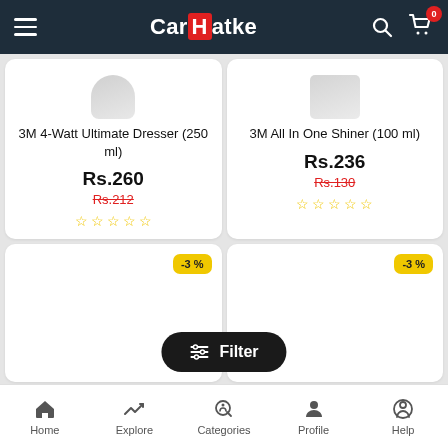CarHatke — navigation header with menu, logo, search and cart icons
[Figure (screenshot): Product card: 3M 4-Watt Ultimate Dresser (250 ml), partial bottle image at top]
3M 4-Watt Ultimate Dresser (250 ml)
Rs.260
Rs.212
☆☆☆☆☆
[Figure (screenshot): Product card: 3M All In One Shiner (100 ml), partial product image at top]
3M All In One Shiner (100 ml)
Rs.236
Rs.130
☆☆☆☆☆
[Figure (screenshot): Product card bottom-left with -3% discount badge, empty product image area]
[Figure (screenshot): Product card bottom-right with -3% discount badge, empty product image area]
Filter
Home   Explore   Categories   Profile   Help